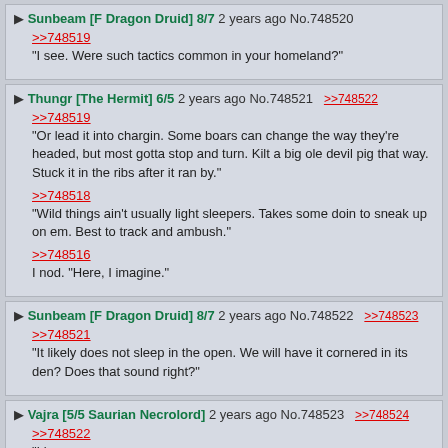Sunbeam [F Dragon Druid] 8/7  2 years ago No.748520
>>748519
"I see. Were such tactics common in your homeland?"
Thungr [The Hermit] 6/5  2 years ago No.748521  >>748522
>>748519
"Or lead it into chargin. Some boars can change the way they're headed, but most gotta stop and turn. Kilt a big ole devil pig that way. Stuck it in the ribs after it ran by."
>>748518
"Wild things ain't usually light sleepers. Takes some doin to sneak up on em. Best to track and ambush."
>>748516
I nod. "Here, I imagine."
Sunbeam [F Dragon Druid] 8/7  2 years ago No.748522  >>748523
>>748521
"It likely does not sleep in the open. We will have it cornered in its den? Does that sound right?"
Vajra [5/5 Saurian Necrolord]  2 years ago No.748523  >>748524
>>748522
"I lean...